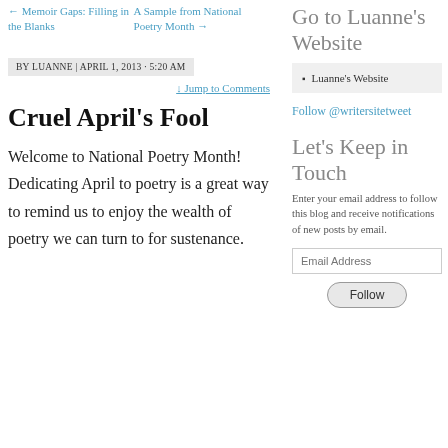← Memoir Gaps: Filling in the Blanks
A Sample from National Poetry Month →
BY LUANNE | APRIL 1, 2013 · 5:20 AM
↓ Jump to Comments
Cruel April's Fool
Welcome to National Poetry Month!  Dedicating April to poetry is a great way to remind us to enjoy the wealth of poetry we can turn to for sustenance.
Go to Luanne's Website
Luanne's Website
Follow @writersitetweet
Let's Keep in Touch
Enter your email address to follow this blog and receive notifications of new posts by email.